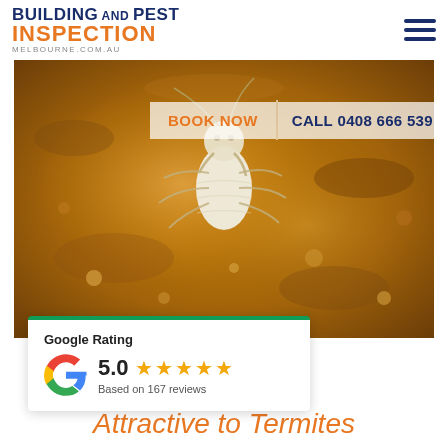Building and Pest Inspection Melbourne.com.au
[Figure (photo): Close-up macro photograph of a termite (white/translucent body, visible head) on brown wood/soil substrate]
BOOK NOW   CALL 0408 666 539
[Figure (other): Google Rating card showing 5.0 stars based on 167 reviews with Google G logo]
That Are Attractive to Termites